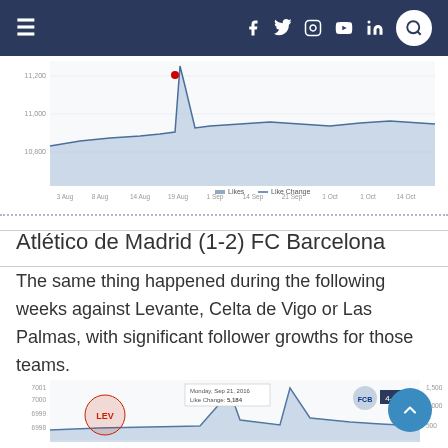Navigation bar with menu, social icons, and search
[Figure (continuous-plot): Partial top of a line chart showing social media followers over time (Aug-Oct), with a spike around 1 Sep, y-axis around 11,000-11,200 range. Legend shows 'Likes' and 'Like change'.]
Atlético de Madrid (1-2) FC Barcelona
The same thing happened during the following weeks against Levante, Celta de Vigo or Las Palmas, with significant follower growths for those teams.
[Figure (continuous-plot): Partial bottom of a line/area chart showing Levante vs FC Barcelona follower growth, with a spike labeled 'Like Change: 5,184' on around Sep 21 2016, showing Levante and Barcelona logos.]